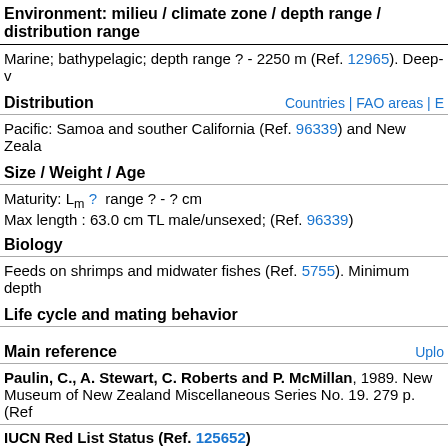Environment: milieu / climate zone / depth range / distribution range
Marine; bathypelagic; depth range ? - 2250 m (Ref. 12965). Deep-v
Distribution
Countries | FAO areas | E
Pacific: Samoa and souther California (Ref. 96339) and New Zeala
Size / Weight / Age
Maturity: Lm ?  range ? - ? cm
Max length : 63.0 cm TL male/unsexed; (Ref. 96339)
Biology
Feeds on shrimps and midwater fishes (Ref. 5755). Minimum depth
Life cycle and mating behavior
Main reference
Uplo
Paulin, C., A. Stewart, C. Roberts and P. McMillan, 1989. New Museum of New Zealand Miscellaneous Series No. 19. 279 p. (Ref
IUCN Red List Status (Ref. 125652)
Not Evaluated